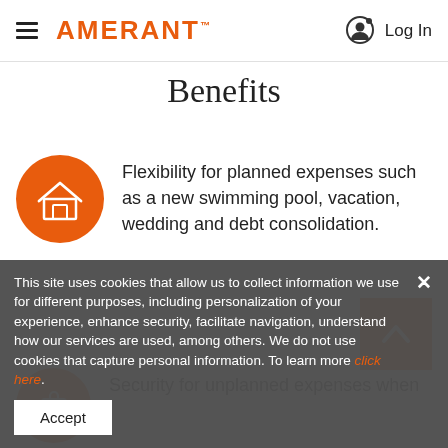AMERANT™  Log In
Benefits
Flexibility for planned expenses such as a new swimming pool, vacation, wedding and debt consolidation.
Security for unplanned expenses when
This site uses cookies that allow us to collect information we use for different purposes, including personalization of your experience, enhance security, facilitate navigation, understand how our services are used, among others. We do not use cookies that capture personal information. To learn more click here.